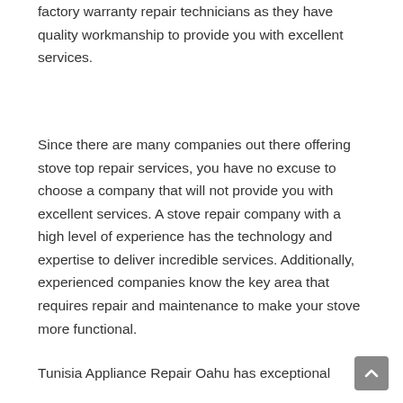factory warranty repair technicians as they have quality workmanship to provide you with excellent services.
Since there are many companies out there offering stove top repair services, you have no excuse to choose a company that will not provide you with excellent services. A stove repair company with a high level of experience has the technology and expertise to deliver incredible services. Additionally, experienced companies know the key area that requires repair and maintenance to make your stove more functional.
Tunisia Appliance Repair Oahu has exceptional